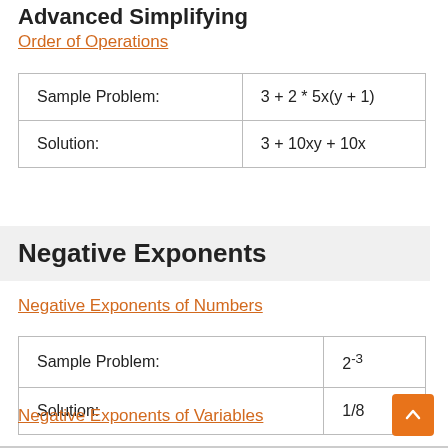Advanced Simplifying
Order of Operations
| Sample Problem: | 3 + 2 * 5x(y + 1) |
| Solution: | 3 + 10xy + 10x |
Negative Exponents
Negative Exponents of Numbers
| Sample Problem: | 2⁻³ |
| Solution: | 1/8 |
Negative Exponents of Variables